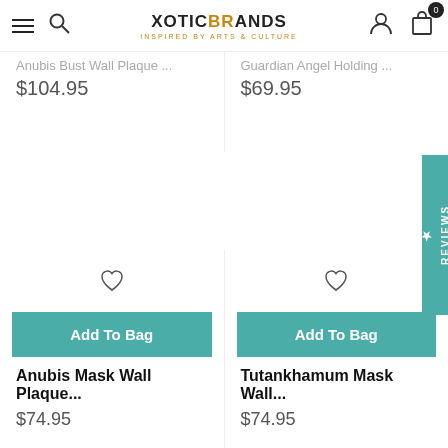XOTIC Brands – Inspired by Arts & Culture – navigation bar with hamburger menu, search, logo, account, and cart (0 items)
Anubis Bust Wall Plaque – $104.95
Guardian Angel Holding – $69.95
[Figure (screenshot): Reviews tab on right side of page, teal background with star and REVIEWS text rotated vertically]
[Figure (other): Heart wishlist icon for Anubis Mask Wall Plaque product]
[Figure (other): Heart wishlist icon for Tutankhamum Mask Wall product]
Add To Bag – button for Anubis Mask Wall Plaque
Add To Bag – button for Tutankhamum Mask Wall
Anubis Mask Wall Plaque... $74.95
Tutankhamum Mask Wall... $74.95